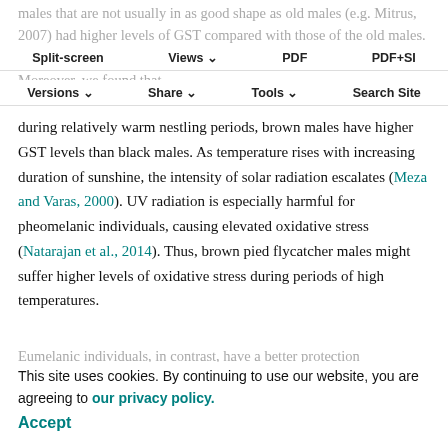males that are not usually in as good shape as old males (e.g. Mitrus, 2007) had higher levels of GST compared with those of the old males. This suggests that, indeed, high GST levels indicate high stress. Moreover, we found that
Split-screen  Views  PDF  PDF+SI
Versions  Share  Tools  Search Site
during relatively warm nestling periods, brown males have higher GST levels than black males. As temperature rises with increasing duration of sunshine, the intensity of solar radiation escalates (Meza and Varas, 2000). UV radiation is especially harmful for pheomelanic individuals, causing elevated oxidative stress (Natarajan et al., 2014). Thus, brown pied flycatcher males might suffer higher levels of oxidative stress during periods of high temperatures.
Eumelanic individuals, in contrast, have a better protection
This site uses cookies. By continuing to use our website, you are agreeing to our privacy policy. Accept
against UV because of the strong structure of eumelanin pigments (McGraw, 2003; Brenner and Hearing, 2008; Roulin, 2014).